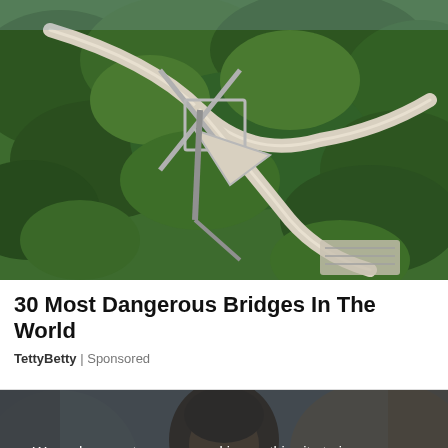[Figure (photo): Aerial view of a winding elevated walkway bridge structure over a dense green forested hillside, with a distinctive X-shaped support and curved path]
30 Most Dangerous Bridges In The World
TettyBetty | Sponsored
[Figure (photo): Blurred photo of a man in a suit, partially visible, with a semi-transparent dark overlay containing a cookie consent notice]
We and our partners use cookies on this site to improve our service, perform analytics, personalize advertising, measure advertising performance, and remember website preferences.
Ok